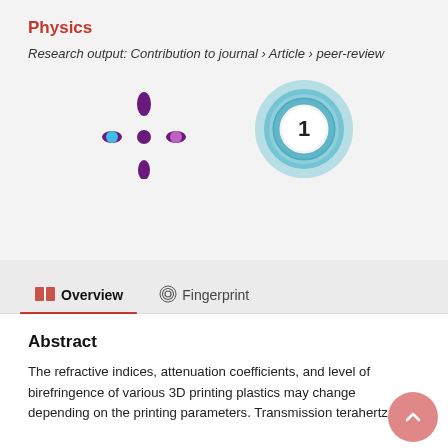Physics
Research output: Contribution to journal › Article › peer-review
[Figure (illustration): Two metric/badge icons: a purple altmetric-style asterisk/flower shape with colored dots, and a blue circular citation ring badge showing the number 1]
Overview   Fingerprint
Abstract
The refractive indices, attenuation coefficients, and level of birefringence of various 3D printing plastics may change depending on the printing parameters. Transmission terahertz